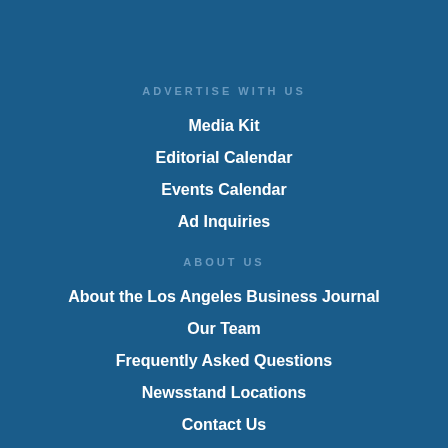ADVERTISE WITH US
Media Kit
Editorial Calendar
Events Calendar
Ad Inquiries
ABOUT US
About the Los Angeles Business Journal
Our Team
Frequently Asked Questions
Newsstand Locations
Contact Us